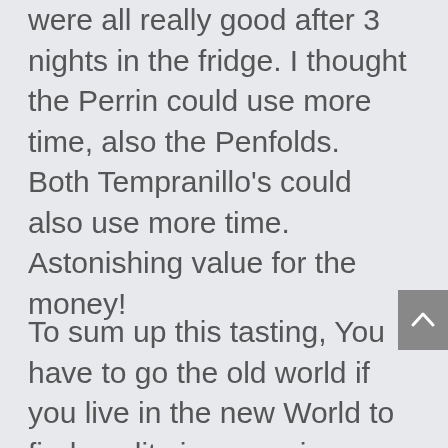were all really good after 3 nights in the fridge. I thought the Perrin could use more time, also the Penfolds. Both Tempranillo's could also use more time. Astonishing value for the money!
To sum up this tasting, You have to go the old world if you live in the new World to find quality inexpensive wines.